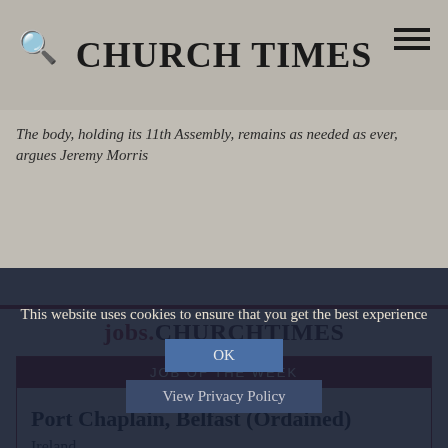CHURCH TIMES
The body, holding its 11th Assembly, remains as needed as ever, argues Jeremy Morris
jobs.CHURCHTIMES
JOB OF THE WEEK
Port Chaplain, Belfast (Ordained)
Ireland
This website uses cookies to ensure that you get the best experience
OK
View Privacy Policy